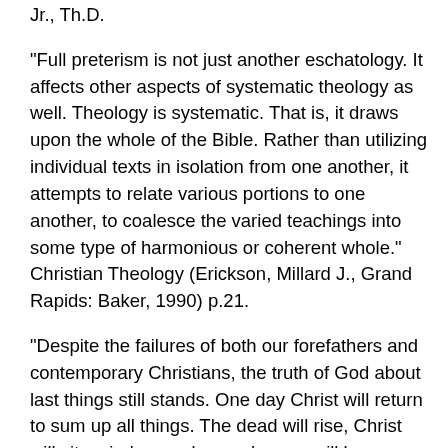Jr., Th.D.
“Full preterism is not just another eschatology. It affects other aspects of systematic theology as well. Theology is systematic. That is, it draws upon the whole of the Bible. Rather than utilizing individual texts in isolation from one another, it attempts to relate various portions to one another, to coalesce the varied teachings into some type of harmonious or coherent whole.” Christian Theology (Erickson, Millard J., Grand Rapids: Baker, 1990) p.21.
“Despite the failures of both our forefathers and contemporary Christians, the truth of God about last things still stands. One day Christ will return to sum up all things. The dead will rise, Christ will sit as judge, and every human will be examined and consigned to his or her eternal home either in heaven or in hell. These tenets are